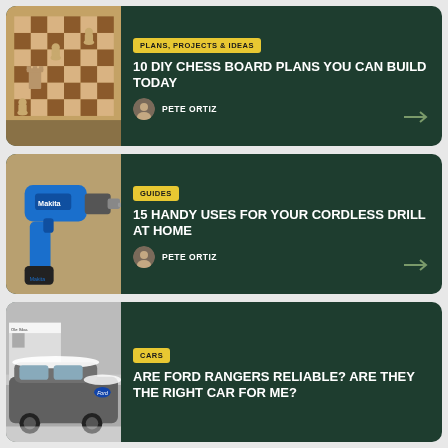[Figure (photo): Chess board with wooden chess pieces on a wooden board]
PLANS, PROJECTS & IDEAS
10 DIY CHESS BOARD PLANS YOU CAN BUILD TODAY
PETE ORTIZ
[Figure (photo): Blue Makita cordless drill on a background]
GUIDES
15 HANDY USES FOR YOUR CORDLESS DRILL AT HOME
PETE ORTIZ
[Figure (photo): Snow covered Ford Ranger truck near a car dealership]
CARS
ARE FORD RANGERS RELIABLE? ARE THEY THE RIGHT CAR FOR ME?